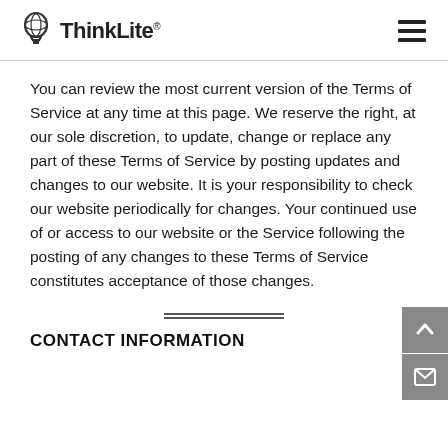ThinkLite
You can review the most current version of the Terms of Service at any time at this page. We reserve the right, at our sole discretion, to update, change or replace any part of these Terms of Service by posting updates and changes to our website. It is your responsibility to check our website periodically for changes. Your continued use of or access to our website or the Service following the posting of any changes to these Terms of Service constitutes acceptance of those changes.
CONTACT INFORMATION